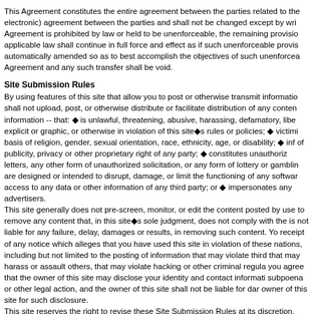This Agreement constitutes the entire agreement between the parties related to the electronic) agreement between the parties and shall not be changed except by wri Agreement is prohibited by law or held to be unenforceable, the remaining provisio applicable law shall continue in full force and effect as if such unenforceable provis automatically amended so as to best accomplish the objectives of such unenforcea Agreement and any such transfer shall be void.
Site Submission Rules
By using features of this site that allow you to post or otherwise transmit informatio shall not upload, post, or otherwise distribute or facilitate distribution of any conten information -- that: ◆ is unlawful, threatening, abusive, harassing, defamatory, libe explicit or graphic, or otherwise in violation of this site◆s rules or policies; ◆ victimi basis of religion, gender, sexual orientation, race, ethnicity, age, or disability; ◆ inf of publicity, privacy or other proprietary right of any party; ◆ constitutes unauthoriz letters, any other form of unauthorized solicitation, or any form of lottery or gamblin are designed or intended to disrupt, damage, or limit the functioning of any softwar access to any data or other information of any third party; or ◆ impersonates any advertisers.
This site generally does not pre-screen, monitor, or edit the content posted by use to remove any content that, in this site◆s sole judgment, does not comply with the is not liable for any failure, delay, damages or results, in removing such content. Yo receipt of any notice which alleges that you have used this site in violation of these nations, including but not limited to the posting of information that may violate third that may harass or assault others, that may violate hacking or other criminal regula you agree that the owner of this site may disclose your identity and contact informati subpoena or other legal action, and the owner of this site shall not be liable for dar owner of this site for such disclosure.
This site reserves the right to revise these Site Submission Rules at its discretion, version.
Latest Revision: v 3.7 Dated October 15th 2014